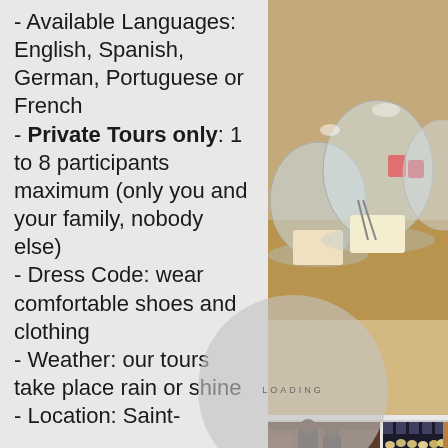- Available Languages: English, Spanish, German, Portuguese or French - Private Tours only: 1 to 8 participants maximum (only you and your family, nobody else) - Dress Code: wear comfortable shoes and clothing - Weather: our tours take place rain or shine - Location: Saint-
[Figure (photo): Top photo showing glass dome display covers over pastries/desserts on a counter, with a warm golden background. Bottom row shows two smaller photos: left photo shows a bakery/patisserie interior with staff behind a counter filled with colorful products; right photo shows a tray of colorful macarons arranged in rows.]